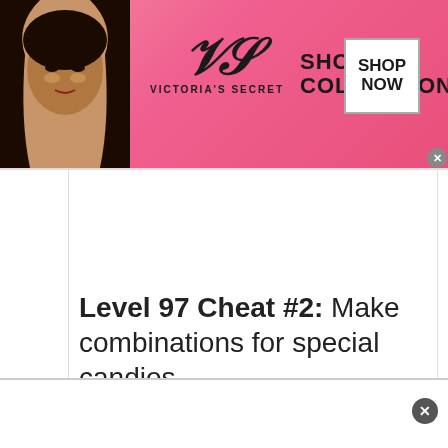[Figure (photo): Victoria's Secret advertisement banner with pink background, model on left, VS logo in center, 'SHOP THE COLLECTION' text, and 'SHOP NOW' button on right]
Level 97 Cheat #2: Make combinations for special candies.
[Figure (screenshot): Candy Crush game screenshot showing candy store awning with brown and white striped pattern, score 28240, and candy symbols]